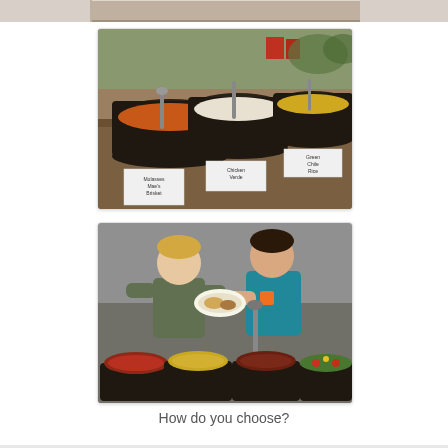[Figure (photo): Partial top strip showing edge of a photo from above]
[Figure (photo): Outdoor cooking scene with three large cast iron Dutch ovens on a log table, each containing different food dishes. Signs with handwritten labels placed in front of each pot. Background shows trees and red containers.]
[Figure (photo): Two young boys standing outdoors looking at food on plates. Below them are four large cast iron pots with different food items including chili, rice/corn dish, beans, and a vegetable mixture.]
How do you choose?